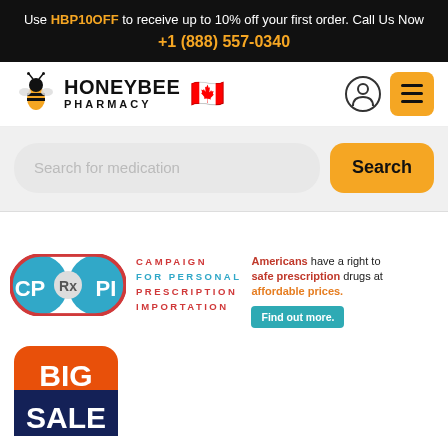Use HBP10OFF to receive up to 10% off your first order. Call Us Now +1 (888) 557-0340
[Figure (logo): Honeybee Pharmacy logo with bee icon and Canadian flag emoji]
[Figure (infographic): Search bar for medication with yellow Search button]
[Figure (logo): CP Rx PI - Campaign for Personal Prescription Importation badge with text: Americans have a right to safe prescription drugs at affordable prices. Find out more.]
[Figure (infographic): BIG SALE badge in orange and dark blue]